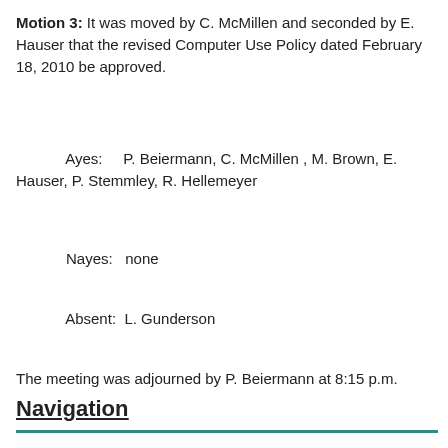Motion 3:  It was moved by C. McMillen and seconded by E. Hauser that the revised Computer Use Policy dated February 18, 2010 be approved.
Ayes:    P. Beiermann, C. McMillen , M. Brown, E. Hauser, P. Stemmley, R. Hellemeyer
Nayes:   none
Absent:  L. Gunderson
The meeting was adjourned by P. Beiermann at 8:15 p.m.
Navigation
Home
About Us